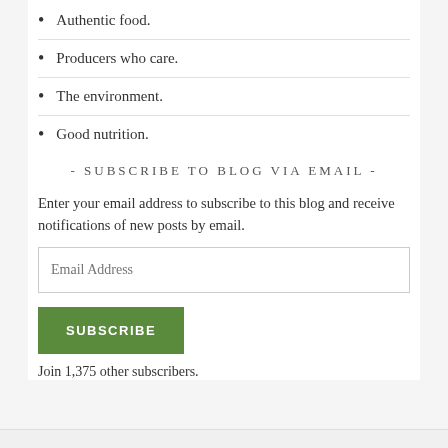Authentic food.
Producers who care.
The environment.
Good nutrition.
- SUBSCRIBE TO BLOG VIA EMAIL -
Enter your email address to subscribe to this blog and receive notifications of new posts by email.
Join 1,375 other subscribers.